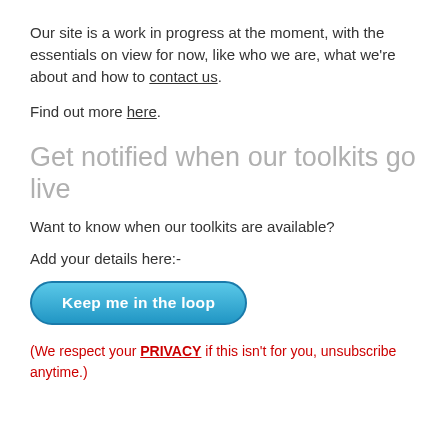Our site is a work in progress at the moment, with the essentials on view for now, like who we are, what we're about and how to contact us.
Find out more here.
Get notified when our toolkits go live
Want to know when our toolkits are available?
Add your details here:-
[Figure (other): A blue rounded button labelled 'Keep me in the loop']
(We respect your PRIVACY if this isn't for you, unsubscribe anytime.)